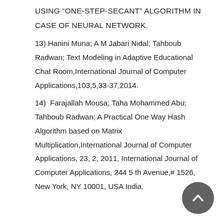USING “ONE-STEP-SECANT” ALGORITHM IN CASE OF NEURAL NETWORK.
13) Hanini Muna; A M Jabari Nidal; Tahboub Radwan; Text Modeling in Adaptive Educational Chat Room,International Journal of Computer Applications,103,5,33-37,2014.
14) Farajallah Mousa; Taha Mohammed Abu; Tahboub Radwan; A Practical One Way Hash Algorithm based on Matrix Multiplication,International Journal of Computer Applications, 23, 2, 2011, International Journal of Computer Applications, 244 5 th Avenue,# 1526, New York, NY 10001, USA India.